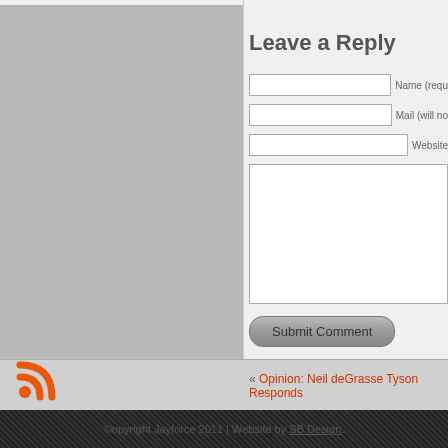Leave a Reply
Name (required)
Mail (will not be published) (required)
Website
Submit Comment
« Opinion: Neil deGrasse Tyson Responds
[Figure (logo): RSS feed icon in orange]
©opyright Jayforce 2011 | Website by SB Design.